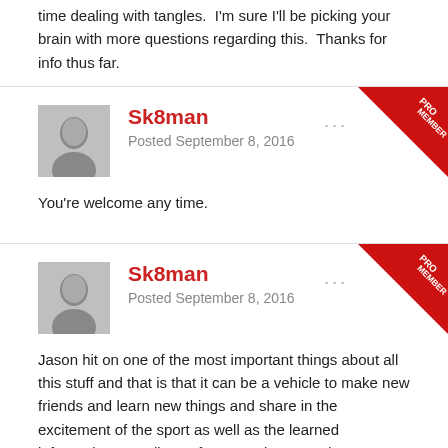time dealing with tangles.  I'm sure I'll be picking your brain with more questions regarding this.  Thanks for info thus far.
Sk8man
Posted September 8, 2016
You're welcome any time.
Sk8man
Posted September 8, 2016
Jason hit on one of the most important things about all this stuff and that is that it can be a vehicle to make new friends and learn new things and share in the excitement of the sport as well as the learned information etc. All too often now days people are looking for spoon fed information